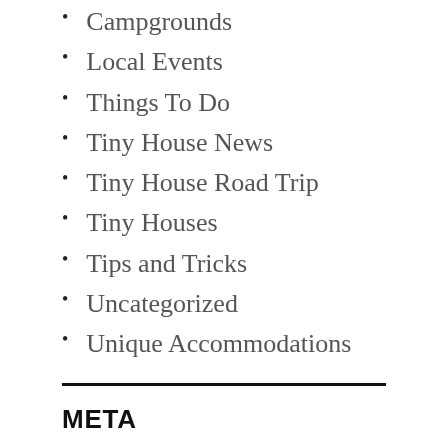Campgrounds
Local Events
Things To Do
Tiny House News
Tiny House Road Trip
Tiny Houses
Tips and Tricks
Uncategorized
Unique Accommodations
META
Log in
Entries feed
Comments feed